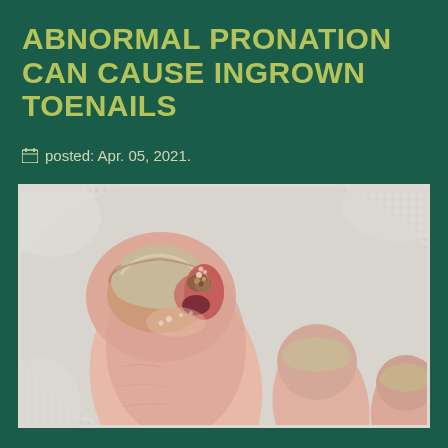ABNORMAL PRONATION CAN CAUSE INGROWN TOENAILS
posted: Apr. 05, 2021.
[Figure (photo): Close-up photograph of a human foot showing an ingrown toenail on the big toe, resting on a white textured towel. The toenail has visible redness, inflammation, and debris at the nail edge.]